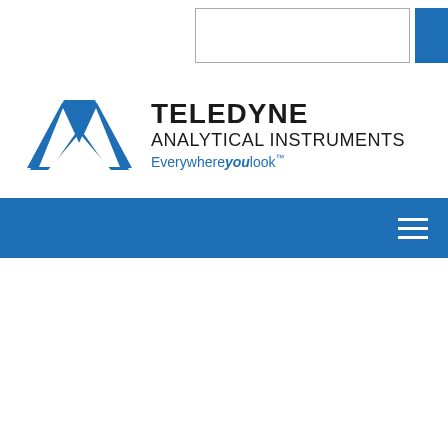[Figure (screenshot): Search bar with empty text input box and blue search button square on the right]
[Figure (logo): Teledyne Analytical Instruments logo with blue stylized bird/arrow icon and text 'TELEDYNE ANALYTICAL INSTRUMENTS Everywhereyoulook']
[Figure (screenshot): Blue navigation bar with white hamburger menu icon on the right side]